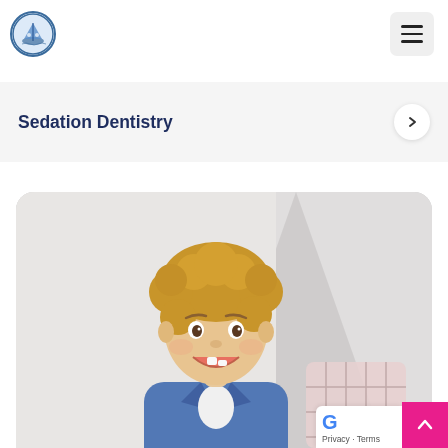[Figure (logo): Pediatric dentistry logo — circular badge with children/boat imagery]
[Figure (other): Hamburger menu icon (three horizontal lines) in a rounded square button]
Sedation Dentistry
[Figure (photo): Smiling young child with curly blonde hair, wearing a denim jacket, looking up. Background shows a light grey teepee tent and a pink/grey window pane cushion.]
Privacy · Terms